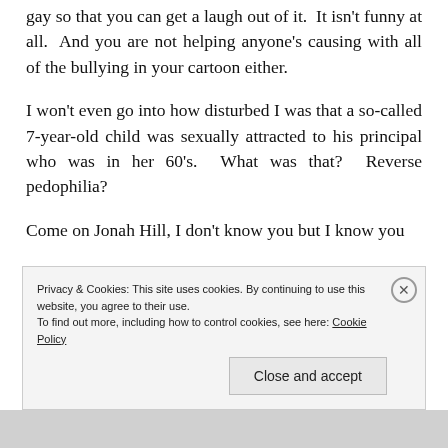gay so that you can get a laugh out of it.  It isn't funny at all.  And you are not helping anyone's causing with all of the bullying in your cartoon either.
I won't even go into how disturbed I was that a so-called 7-year-old child was sexually attracted to his principal who was in her 60's.  What was that?  Reverse pedophilia?
Come on Jonah Hill, I don't know you but I know you
Privacy & Cookies: This site uses cookies. By continuing to use this website, you agree to their use.
To find out more, including how to control cookies, see here: Cookie Policy
Close and accept